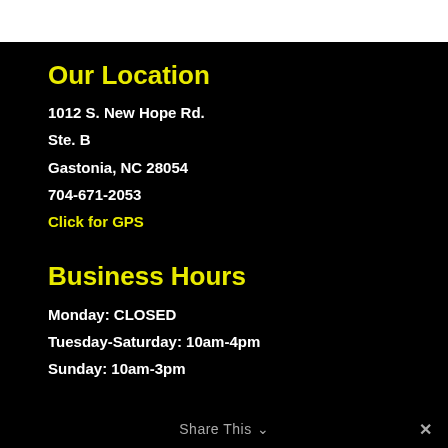Our Location
1012 S. New Hope Rd.
Ste. B
Gastonia, NC 28054
704-671-2053
Click for GPS
Business Hours
Monday: CLOSED
Tuesday-Saturday: 10am-4pm
Sunday: 10am-3pm
Share This ∨  ✕